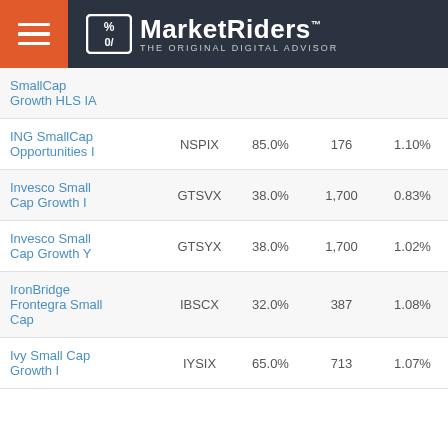MarketRiders — THE ORIGINAL DIGITAL ADVISOR
| Fund Name | Ticker | Stock % | Holdings | Expense |
| --- | --- | --- | --- | --- |
| SmallCap Growth HLS IA |  |  |  |  |
| ING SmallCap Opportunities I | NSPIX | 85.0% | 176 | 1.10% |
| Invesco Small Cap Growth I | GTSVX | 38.0% | 1,700 | 0.83% |
| Invesco Small Cap Growth Y | GTSYX | 38.0% | 1,700 | 1.02% |
| IronBridge Frontegra Small Cap | IBSCX | 32.0% | 387 | 1.08% |
| Ivy Small Cap Growth I | IYSIX | 65.0% | 713 | 1.07% |